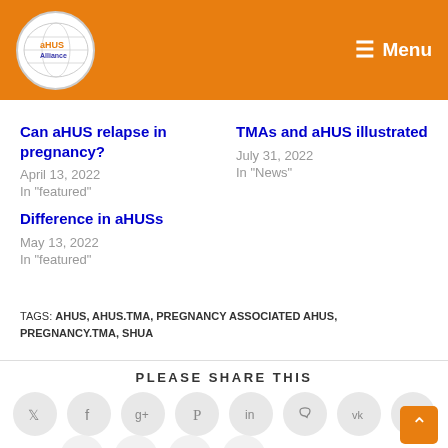aHUS Alliance | Menu
Can aHUS relapse in pregnancy?
April 13, 2022
In "featured"
TMAs and aHUS illustrated
July 31, 2022
In "News"
Difference in aHUSs
May 13, 2022
In "featured"
TAGS: AHUS, AHUS.TMA, PREGNANCY ASSOCIATED AHUS, PREGNANCY.TMA, SHUA
PLEASE SHARE THIS
[Figure (infographic): Social media share icons: Twitter, Facebook, Google+, Pinterest, LinkedIn, Phone/Viber, VK, and more in circular grey buttons]